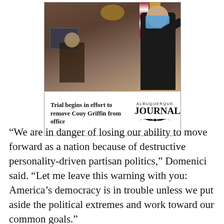[Figure (photo): Courtroom photo showing a man in a black jacket and blue surgical mask gesturing with his hand raised, with a judge visible in the background at the bench, US and New Mexico flags in the background, and a monitor visible. Article card with border from the Albuquerque Journal.]
Trial begins in effort to remove Couy Griffin from office
“We are in danger of losing our ability to move forward as a nation because of destructive personality-driven partisan politics,” Domenici said. “Let me leave this warning with you: America’s democracy is in trouble unless we put aside the political extremes and work toward our common goals.”